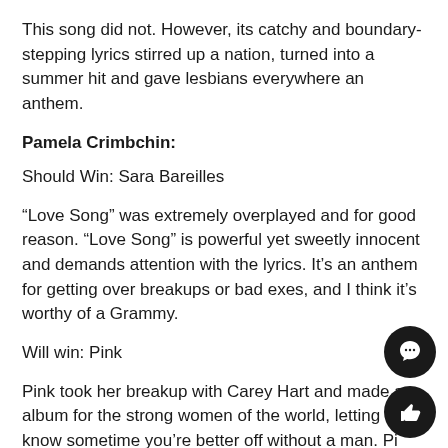This song did not. However, its catchy and boundary-stepping lyrics stirred up a nation, turned into a summer hit and gave lesbians everywhere an anthem.
Pamela Crimbchin:
Should Win: Sara Bareilles
“Love Song” was extremely overplayed and for good reason. “Love Song” is powerful yet sweetly innocent and demands attention with the lyrics. It’s an anthem for getting over breakups or bad exes, and I think it’s worthy of a Grammy.
Will win: Pink
Pink took her breakup with Carey Hart and made an album for the strong women of the world, letting th know sometime you’re better off without a man. Pi and Bareilles have many other breakup songs...